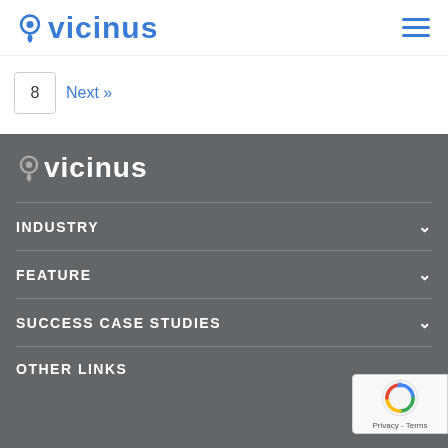VICINUS
8   Next »
[Figure (logo): Vicinus logo in white on dark gray background]
INDUSTRY
FEATURE
SUCCESS CASE STUDIES
OTHER LINKS